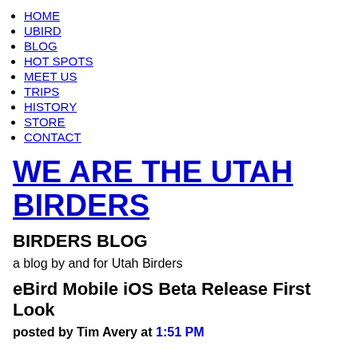HOME
UBIRD
BLOG
HOT SPOTS
MEET US
TRIPS
HISTORY
STORE
CONTACT
WE ARE THE UTAH BIRDERS
BIRDERS BLOG
a blog by and for Utah Birders
eBird Mobile iOS Beta Release First Look
posted by Tim Avery at 1:51 PM